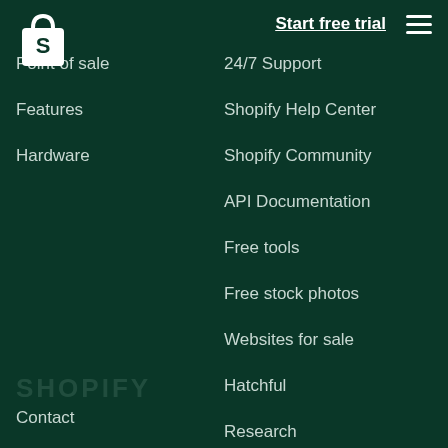[Figure (logo): Shopify bag logo in white on dark green background]
Start free trial
Point of sale
Features
Hardware
24/7 Support
Shopify Help Center
Shopify Community
API Documentation
Free tools
Free stock photos
Websites for sale
Hatchful
Research
SHOPIFY
Contact